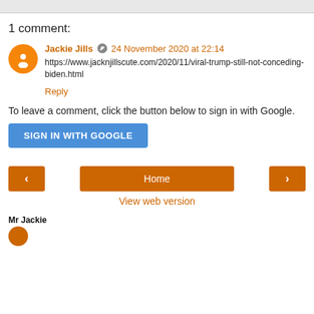1 comment:
Jackie Jills  24 November 2020 at 22:14
https://www.jacknjillscute.com/2020/11/viral-trump-still-not-conceding-biden.html
Reply
To leave a comment, click the button below to sign in with Google.
SIGN IN WITH GOOGLE
Home
View web version
Mr Jackie